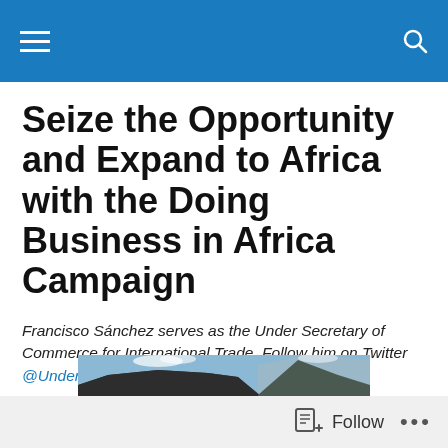Navigation bar with hamburger menu and search icon
Seize the Opportunity and Expand to Africa with the Doing Business in Africa Campaign
Francisco Sánchez serves as the Under Secretary of Commerce for International Trade. Follow him on Twitter @UnderSecSanchez.
[Figure (photo): Aerial or elevated landscape photo showing Table Mountain and Cape Town coastline, South Africa, under a blue sky with scattered clouds.]
Follow ...